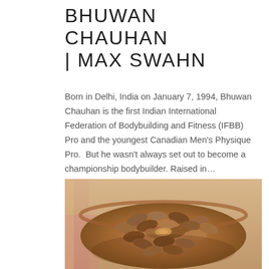BHUWAN CHAUHAN | MAX SWAHN
Born in Delhi, India on January 7, 1994, Bhuwan Chauhan is the first Indian International Federation of Bodybuilding and Fitness (IFBB) Pro and the youngest Canadian Men's Physique Pro.  But he wasn't always set out to become a championship bodybuilder. Raised in...
[Figure (photo): Overhead photo of a wooden bowl filled with pine nuts or similar oval brown nuts/seeds on a light wooden surface with a pink-tinted background.]